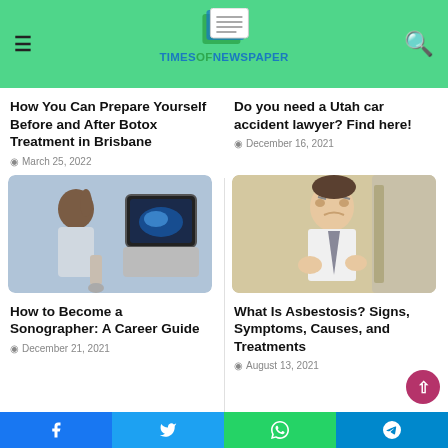TIMESOFNEWSPAPER
How You Can Prepare Yourself Before and After Botox Treatment in Brisbane
March 25, 2022
Do you need a Utah car accident lawyer? Find here!
December 16, 2021
[Figure (photo): Woman sonographer operating ultrasound machine looking at monitor]
How to Become a Sonographer: A Career Guide
December 21, 2021
[Figure (photo): Man coughing and holding his chest outdoors]
What Is Asbestosis? Signs, Symptoms, Causes, and Treatments
August 13, 2021
Facebook Twitter WhatsApp Telegram